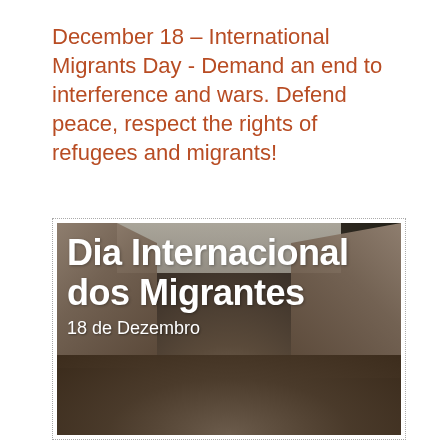December 18 – International Migrants Day - Demand an end to interference and wars. Defend peace, respect the rights of refugees and migrants!
[Figure (photo): Black and white photograph of a crowd of people in a war-damaged urban street with destroyed buildings on both sides. Overlaid text reads 'Dia Internacional dos Migrantes' in large bold white font and '18 de Dezembro' below it.]